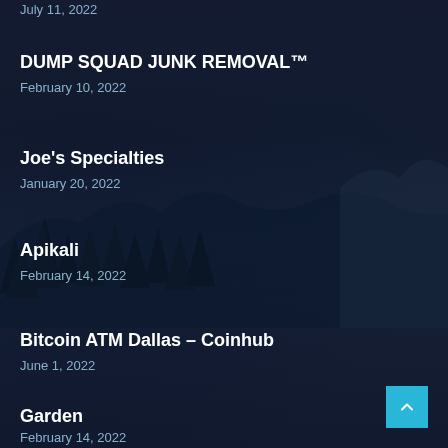July 11, 2022
DUMP SQUAD JUNK REMOVAL™
February 10, 2022
Joe's Specialties
January 20, 2022
Apikali
February 14, 2022
Bitcoin ATM Dallas – Coinhub
June 1, 2022
Garden
February 14, 2022